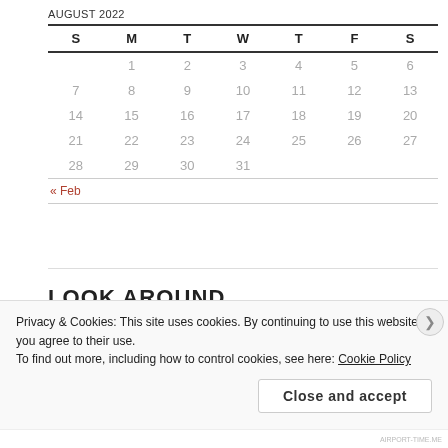AUGUST 2022
| S | M | T | W | T | F | S |
| --- | --- | --- | --- | --- | --- | --- |
|  | 1 | 2 | 3 | 4 | 5 | 6 |
| 7 | 8 | 9 | 10 | 11 | 12 | 13 |
| 14 | 15 | 16 | 17 | 18 | 19 | 20 |
| 21 | 22 | 23 | 24 | 25 | 26 | 27 |
| 28 | 29 | 30 | 31 |  |  |  |
« Feb
LOOK AROUND
Search …
Privacy & Cookies: This site uses cookies. By continuing to use this website, you agree to their use.
To find out more, including how to control cookies, see here: Cookie Policy
Close and accept